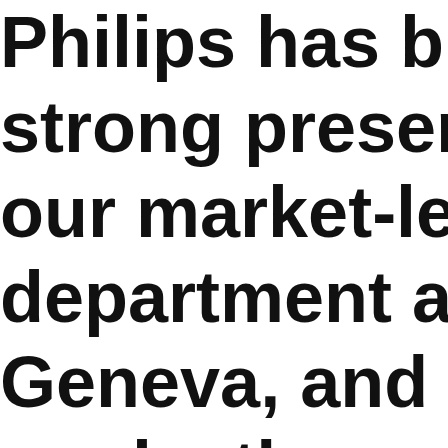Philips has built a strong presence through our market-leading department and offices in Geneva, and London. This marks the next step to bring our 20th Contemporary Art region.